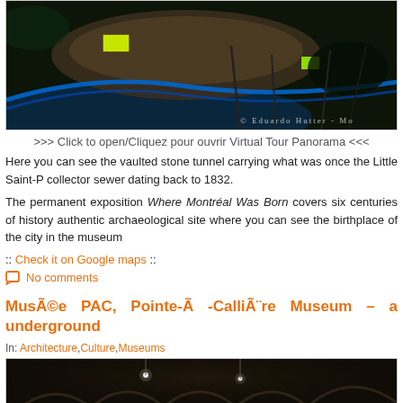[Figure (photo): Dark interior photo of a vaulted stone tunnel museum exhibit with blue lighting and yellow glowing boxes. Copyright Eduardo Hutter - Mo]
>>> Click to open/Cliquez pour ouvrir Virtual Tour Panorama <<<
Here you can see the vaulted stone tunnel carrying what was once the Little Saint-P collector sewer dating back to 1832.
The permanent exposition Where Montréal Was Born covers six centuries of history authentic archaeological site where you can see the birthplace of the city in the museum
:: Check it on Google maps ::
No comments
Musée PAC, Pointe-Â -CalliÃ¨re Museum – a underground
In: Architecture,Culture,Museums
[Figure (photo): Dark interior photo showing stone vaulted ceiling of underground museum with small lights]